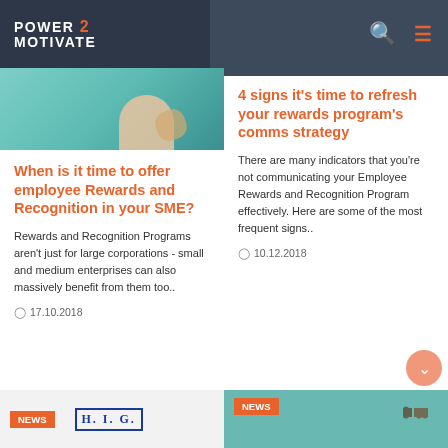POWER 2 MOTIVATE
[Figure (photo): Teal/turquoise background with a hand holding something, partial view]
When is it time to offer employee Rewards and Recognition in your SME?
Rewards and Recognition Programs aren't just for large corporations - small and medium enterprises can also massively benefit from them too..
17.10.2018
4 signs it's time to refresh your rewards program's comms strategy
There are many indicators that you're not communicating your Employee Rewards and Recognition Program effectively. Here are some of the most frequent signs..
10.12.2018
[Figure (photo): News section with H.I.G. logo]
[Figure (photo): News section with puzzle pieces on teal background]